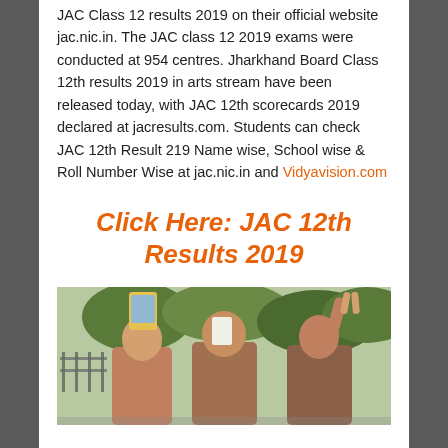JAC Class 12 results 2019 on their official website jac.nic.in. The JAC class 12 2019 exams were conducted at 954 centres. Jharkhand Board Class 12th results 2019 in arts stream have been released today, with JAC 12th scorecards 2019 declared at jacresults.com. Students can check JAC 12th Result 219 Name wise, School wise & Roll Number Wise at jac.nic.in and Vidyavision.com
Click Here: JAC 12th Results 2019
[Figure (photo): Photo of students celebrating exam results, one holding a phone taking a selfie, another raising hand with a V sign, trees and a fence in the background]